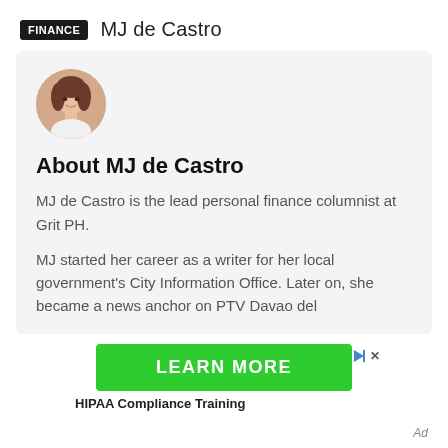FINANCE  MJ de Castro
[Figure (photo): Circular portrait photo of MJ de Castro, a woman with dark hair, smiling, wearing white]
About MJ de Castro
MJ de Castro is the lead personal finance columnist at Grit PH.
MJ started her career as a writer for her local government's City Information Office. Later on, she became a news anchor on PTV Davao del
[Figure (other): Green LEARN MORE advertisement button with ad controls (play/stop icons) and HIPAA Compliance Training label below]
HIPAA Compliance Training
Ad